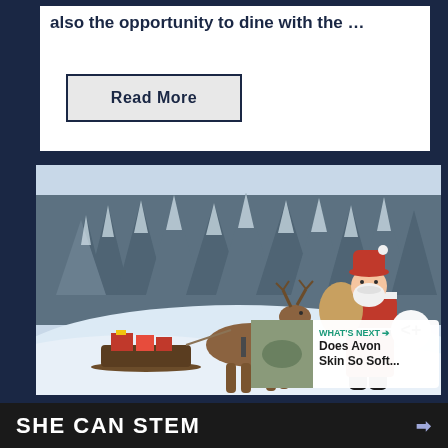also the opportunity to dine with the …
Read More
[Figure (photo): Santa Claus walking beside a reindeer pulling a sled loaded with gifts, in a snowy winter forest landscape with snow-covered pine trees in the background. A share button and 'What's Next' overlay with thumbnail are visible.]
WHAT'S NEXT → Does Avon Skin So Soft...
SHE CAN STEM